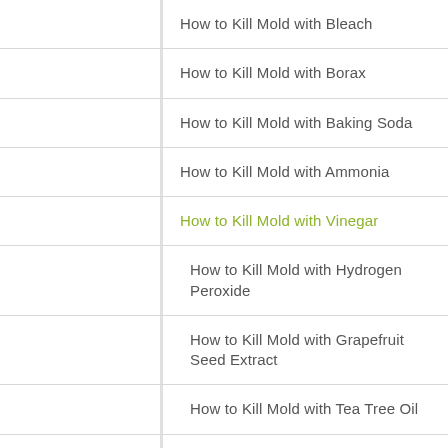How to Kill Mold with Bleach
How to Kill Mold with Borax
How to Kill Mold with Baking Soda
How to Kill Mold with Ammonia
How to Kill Mold with Vinegar
How to Kill Mold with Hydrogen Peroxide
How to Kill Mold with Grapefruit Seed Extract
How to Kill Mold with Tea Tree Oil